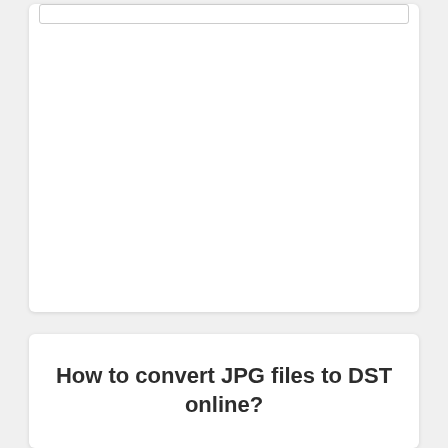[Figure (screenshot): White card panel with a thin rectangular input/search bar outlined at the top, and large white empty space below it, set on a light gray background.]
How to convert JPG files to DST online?